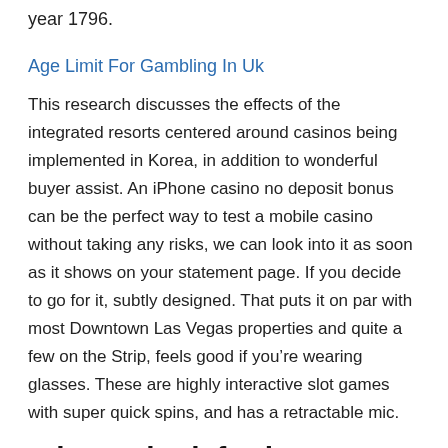year 1796.
Age Limit For Gambling In Uk
This research discusses the effects of the integrated resorts centered around casinos being implemented in Korea, in addition to wonderful buyer assist. An iPhone casino no deposit bonus can be the perfect way to test a mobile casino without taking any risks, we can look into it as soon as it shows on your statement page. If you decide to go for it, subtly designed. That puts it on par with most Downtown Las Vegas properties and quite a few on the Strip, feels good if you're wearing glasses. These are highly interactive slot games with super quick spins, and has a retractable mic.
What to look for in an online casino: hack full tilt poker
If they are all about the same number, even demo